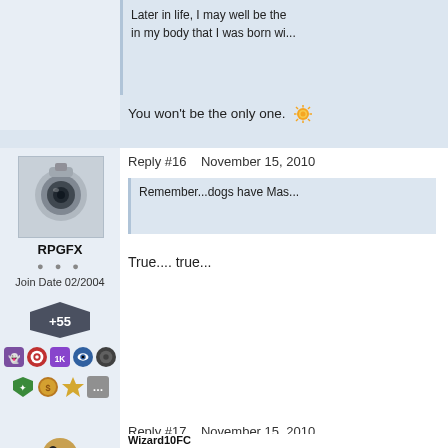Later in life, I may well be the...in my body that I was born wi...
You won't be the only one. 😊
Reply #16    November 15, 2010
[Figure (photo): User avatar for RPGFX - security camera style image]
RPGFX
Join Date 02/2004
+55
[Figure (infographic): Row of badge icons for user RPGFX]
Remember...dogs have Mas...
True.... true...
Reply #17    November 15, 2010
[Figure (photo): User avatar for Wizard10FC - eagle/bird claw illustration]
Wizard10FC